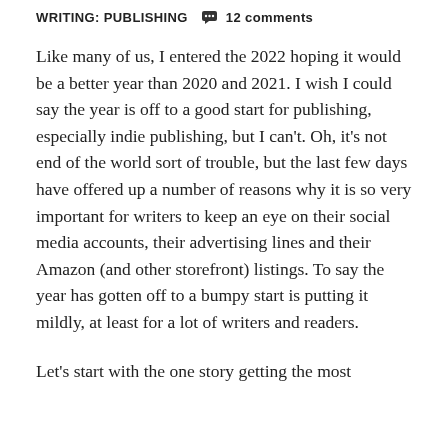WRITING: PUBLISHING  💬 12 comments
Like many of us, I entered the 2022 hoping it would be a better year than 2020 and 2021. I wish I could say the year is off to a good start for publishing, especially indie publishing, but I can't. Oh, it's not end of the world sort of trouble, but the last few days have offered up a number of reasons why it is so very important for writers to keep an eye on their social media accounts, their advertising lines and their Amazon (and other storefront) listings. To say the year has gotten off to a bumpy start is putting it mildly, at least for a lot of writers and readers.
Let's start with the one story getting the most